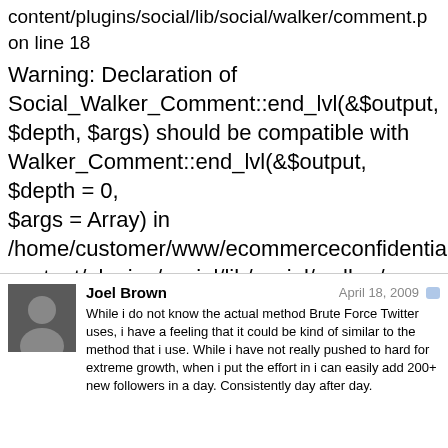content/plugins/social/lib/social/walker/comment.ph on line 18
Warning: Declaration of Social_Walker_Comment::end_lvl(&$output, $depth, $args) should be compatible with Walker_Comment::end_lvl(&$output, $depth = 0, $args = Array) in /home/customer/www/ecommerceconfidential.com/content/plugins/social/lib/social/walker/comment.ph on line 42
Joel Brown
April 18, 2009
While i do not know the actual method Brute Force Twitter uses, i have a feeling that it could be kind of similar to the method that i use. While i have not really pushed to hard for extreme growth, when i put the effort in i can easily add 200+ new followers in a day. Consistently day after day.